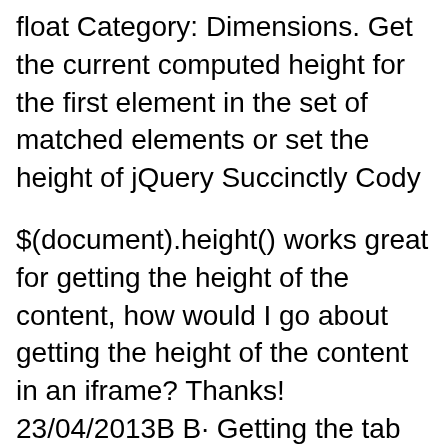float Category: Dimensions. Get the current computed height for the first element in the set of matched elements or set the height of jQuery Succinctly Cody
$(document).height() works great for getting the height of the content, how would I go about getting the height of the content in an iframe? Thanks! 23/04/2013В В· Getting the tab window height Posts You can select the content element and use the jQueryвЂ™s height method to retrieve the content (document).ready
Document how to use scrollTop() properly (document). height It might be